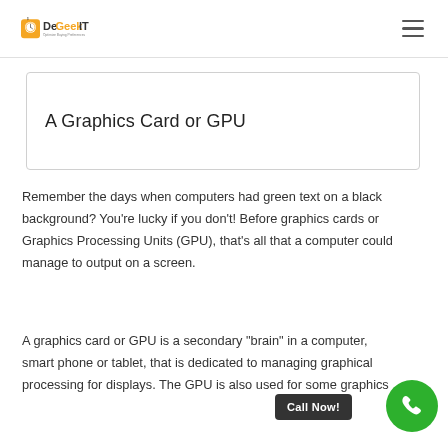DeGeekIT
[Figure (logo): DeGeekIT logo with orange clock/bag icon and text 'DeGeekIT' with tagline 'Optimize Buying Preferences']
A Graphics Card or GPU
Remember the days when computers had green text on a black background? You’re lucky if you don’t! Before graphics cards or Graphics Processing Units (GPU), that’s all that a computer could manage to output on a screen.
A graphics card or GPU is a secondary “brain” in a computer, smart phone or tablet, that is dedicated to managing graphical processing for displays. The GPU is also used for some graphics